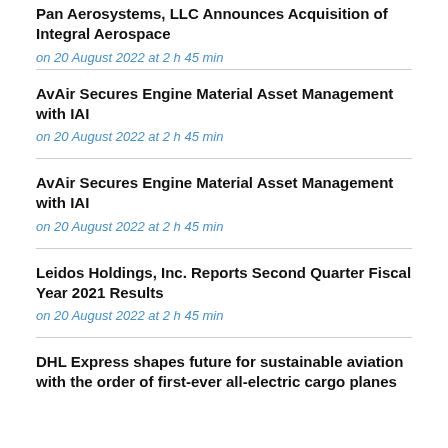Pan Aerosystems, LLC Announces Acquisition of Integral Aerospace
on 20 August 2022 at 2 h 45 min
AvAir Secures Engine Material Asset Management with IAI
on 20 August 2022 at 2 h 45 min
AvAir Secures Engine Material Asset Management with IAI
on 20 August 2022 at 2 h 45 min
Leidos Holdings, Inc. Reports Second Quarter Fiscal Year 2021 Results
on 20 August 2022 at 2 h 45 min
DHL Express shapes future for sustainable aviation with the order of first-ever all-electric cargo planes